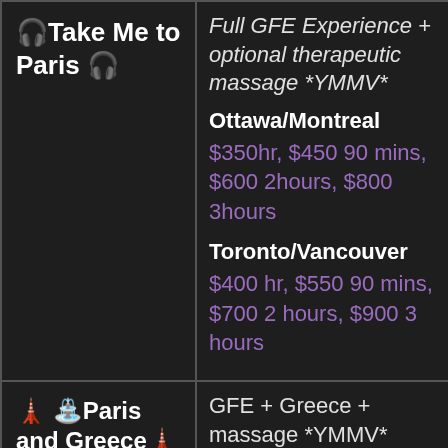🎧 Take Me to Paris 🎧
Full GFE Experience + optional therapeutic massage *YMMV*

Ottawa/Montreal
$350hr, $450 90 mins, $600 2hours, $800 3hours

Toronto/Vancouver
$400 hr, $550 90 mins, $700 2 hours, $900 3 hours
🗼 ⛲ Paris and Greece 🗼 ⛲
GFE + Greece + massage *YMMV*